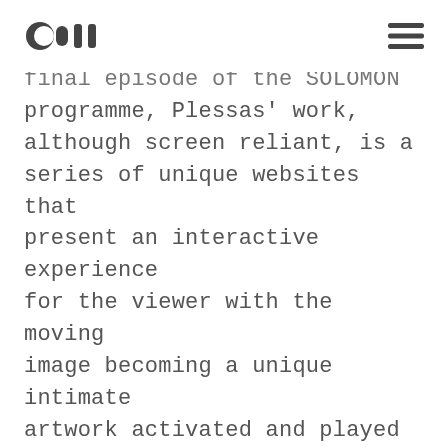[Logo] [Hamburger menu]
final episode of the SOLOMON programme, Plessas' work, although screen reliant, is a series of unique websites that present an interactive experience for the viewer with the moving image becoming a unique intimate artwork activated and played by the audience. Online works automatically have a greater and more immediate reach using the enormous speed of the Internet and creating a powerful social and what he describes as 'an open condition'. It's value never changes with scale – the same piece could be the size of a